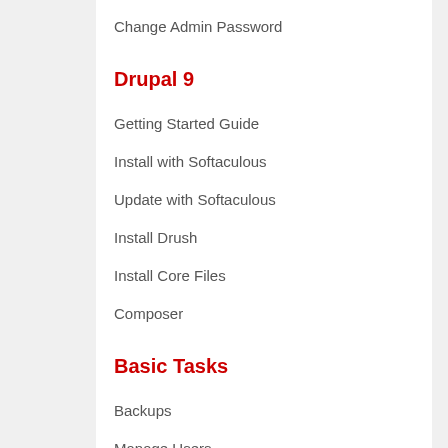Change Admin Password
Drupal 9
Getting Started Guide
Install with Softaculous
Update with Softaculous
Install Drush
Install Core Files
Composer
Basic Tasks
Backups
Manage Users
Webforms